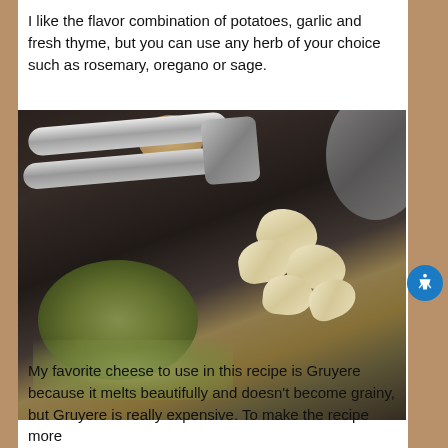I like the flavor combination of potatoes, garlic and fresh thyme, but you can use any herb of your choice such as rosemary, oregano or sage.
[Figure (photo): Photo of a garlic press, fresh thyme herbs, and peeled garlic cloves on a dark stone or slate cutting board, with a potato and metal pan visible in the background.]
My favorite cheese to use in this recipe is Gruyere because it melts beautifully and doesn't become grainy, but Gruyere is really expensive. To make the recipe more